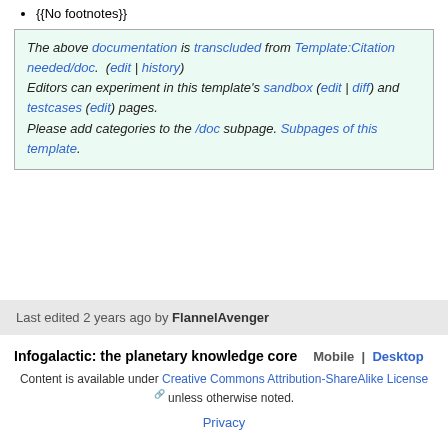{{No footnotes}}
The above documentation is transcluded from Template:Citation needed/doc. (edit | history) Editors can experiment in this template's sandbox (edit | diff) and testcases (edit) pages. Please add categories to the /doc subpage. Subpages of this template.
Last edited 2 years ago by FlannelAvenger
Infogalactic: the planetary knowledge core   Mobile | Desktop   Content is available under Creative Commons Attribution-ShareAlike License unless otherwise noted.   Privacy